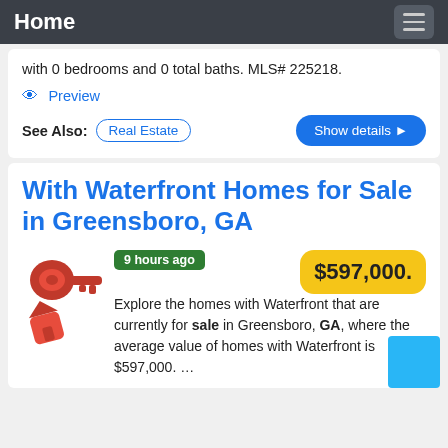Home
with 0 bedrooms and 0 total baths. MLS# 225218.
Preview
See Also: Real Estate
With Waterfront Homes for Sale in Greensboro, GA
9 hours ago  $597,000.  Explore the homes with Waterfront that are currently for sale in Greensboro, GA, where the average value of homes with Waterfront is $597,000. ...